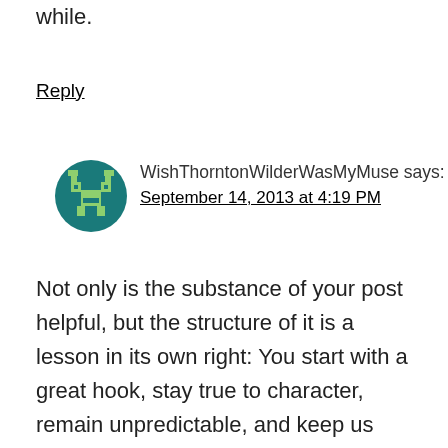while.
Reply
[Figure (illustration): Round dark teal avatar icon with a pixel-art alien/robot face design in light green on a dark teal circular background]
WishThorntonWilderWasMyMuse says:
September 14, 2013 at 4:19 PM
Not only is the substance of your post helpful, but the structure of it is a lesson in its own right: You start with a great hook, stay true to character, remain unpredictable, and keep us “page-turning” through the steps. (I know. Duh. That was your point.)
I like the “read out loud” suggestion. I pictured myself reading some of my prose